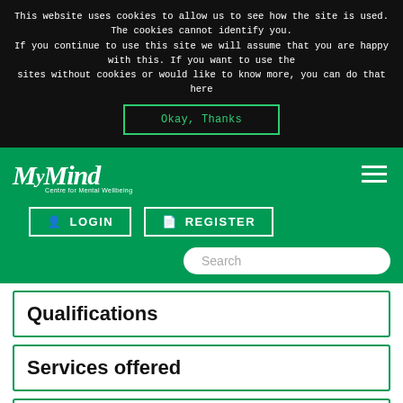This website uses cookies to allow us to see how the site is used. The cookies cannot identify you. If you continue to use this site we will assume that you are happy with this. If you want to use the sites without cookies or would like to know more, you can do that here
Okay, Thanks
[Figure (logo): MyMind Centre for Mental Wellbeing logo in white on green background]
LOGIN
REGISTER
Search
Qualifications
Services offered
About me
Specialities